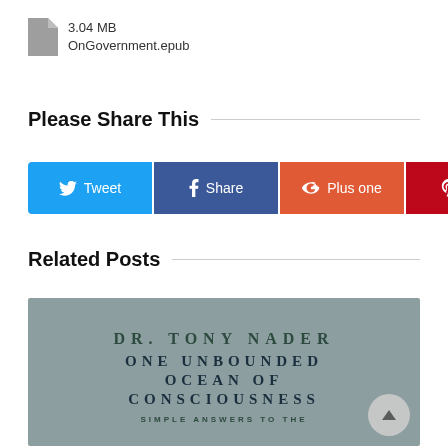[Figure (other): File icon with file info: 3.04 MB, OnGovernment.epub]
3.04 MB
OnGovernment.epub
Please Share This
[Figure (infographic): Social share buttons: Tweet (Twitter/blue), Share (Facebook/dark blue), Plus one (Google+/orange-red), Pin It (Pinterest/red)]
Related Posts
[Figure (photo): Book cover with grey background showing: DR. TONY NADER ONE UNBOUNDED OCEAN OF CONSCIOUSNESS SIMPLE ANSWERS TO THE]